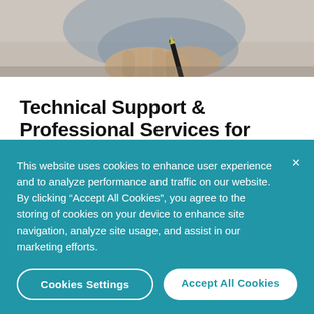[Figure (photo): Photo of a person's hands holding a pen or pencil, cropped at top of page]
Technical Support & Professional Services for Your Open Source Infrastructure
Don’t let your team waste another minute wading
This website uses cookies to enhance user experience and to analyze performance and traffic on our website. By clicking “Accept All Cookies”, you agree to the storing of cookies on your device to enhance site navigation, analyze site usage, and assist in our marketing efforts.
Cookies Settings
Accept All Cookies